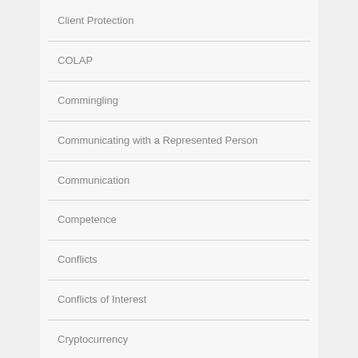Client Protection
COLAP
Commingling
Communicating with a Represented Person
Communication
Competence
Conflicts
Conflicts of Interest
Cryptocurrency
Decorum toa Tribunal